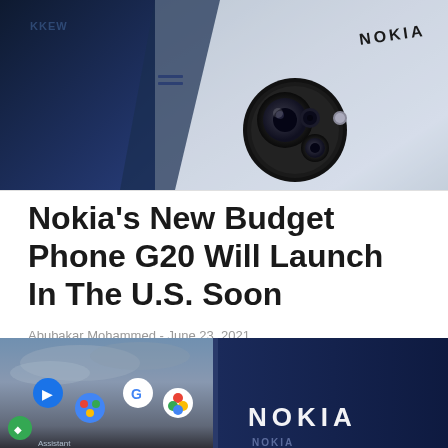[Figure (photo): Close-up photo of Nokia smartphone back panel showing camera module with multiple lenses on silver/white body, with dark blue phone partially visible alongside it. Nokia branding visible in top right.]
Nokia's New Budget Phone G20 Will Launch In The U.S. Soon
Abubakar Mohammed - June 23, 2021
[Figure (photo): Nokia smartphone showing Android home screen with app icons including Google Meet, Google Assistant, Google Photos and other apps. Dark blue Nokia branding panel visible on the right side.]